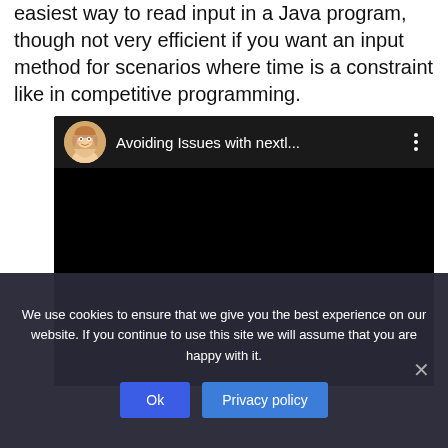easiest way to read input in a Java program, though not very efficient if you want an input method for scenarios where time is a constraint like in competitive programming.
[Figure (screenshot): Embedded video player showing 'Avoiding Issues with nextl...' with a female avatar icon, dark background, and three-dot menu icon.]
We use cookies to ensure that we give you the best experience on our website. If you continue to use this site we will assume that you are happy with it.
Ok   Privacy policy